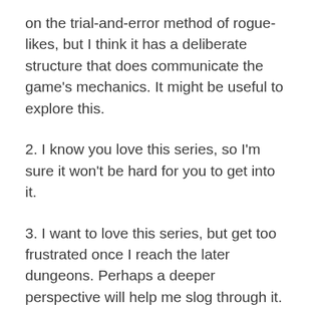on the trial-and-error method of rogue-likes, but I think it has a deliberate structure that does communicate the game's mechanics. It might be useful to explore this.
2. I know you love this series, so I'm sure it won't be hard for you to get into it.
3. I want to love this series, but get too frustrated once I reach the later dungeons. Perhaps a deeper perspective will help me slog through it.